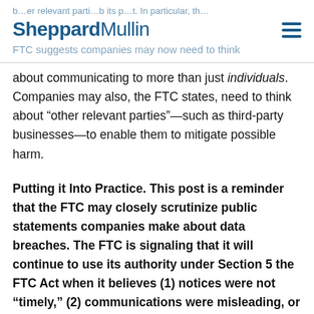SheppardMullin
about communicating to more than just individuals. Companies may also, the FTC states, need to think about "other relevant parties"—such as third-party businesses—to enable them to mitigate possible harm.
Putting it Into Practice. This post is a reminder that the FTC may closely scrutinize public statements companies make about data breaches. The FTC is signaling that it will continue to use its authority under Section 5 the FTC Act when it believes (1) notices were not "timely," (2) communications were misleading, or (3) steps have not been taken to "mitigate